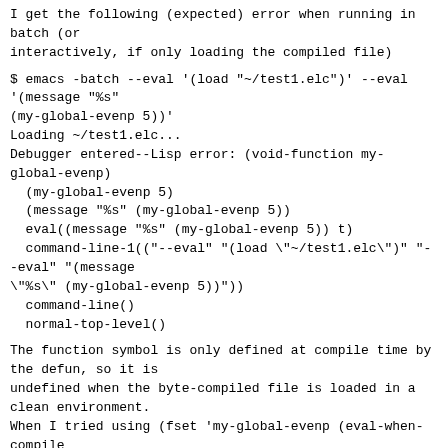I get the following (expected) error when running in batch (or
interactively, if only loading the compiled file)
$ emacs -batch --eval '(load "~/test1.elc")' --eval
'(message "%s"
(my-global-evenp 5))'
Loading ~/test1.elc...
Debugger entered--Lisp error: (void-function my-global-evenp)
  (my-global-evenp 5)
  (message "%s" (my-global-evenp 5))
  eval((message "%s" (my-global-evenp 5)) t)
  command-line-1(("--eval" "(load \"~/test1.elc\")" "--eval" "(message
\"%s\" (my-global-evenp 5))"))
  command-line()
  normal-top-level()
The function symbol is only defined at compile time by the defun, so it is
undefined when the byte-compiled file is loaded in a clean environment.
When I tried using (fset 'my-global-evenp (eval-when-compile
#'my-ct-global-evenp) it just produced a symbol indirection, which was
disappointing.
So here there are global compile time variables being assigned trampolines
to the local functions at compile time as values...